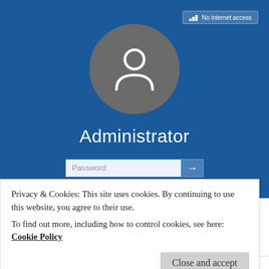[Figure (screenshot): Windows 10 login screen showing Administrator account with a generic user avatar icon on a blue background. There is a Password input field with an arrow submit button. A network button appears in the top right corner.]
Privacy & Cookies: This site uses cookies. By continuing to use this website, you agree to their use.
To find out more, including how to control cookies, see here: Cookie Policy
Close and accept
22. You should be all set by now. What are the installation